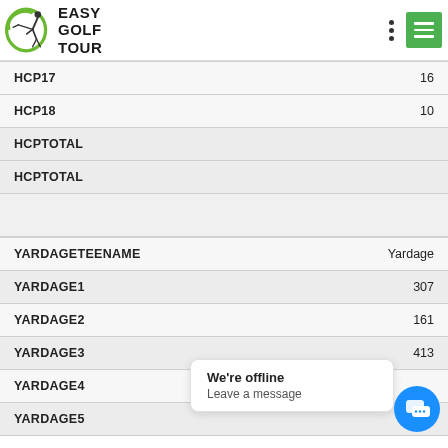[Figure (logo): Easy Golf Tour logo with green golfer silhouette and bold text EASY GOLF TOUR]
| HCP17 | 16 |
| HCP18 | 10 |
| HCPTOTAL |  |
| HCPTOTAL |  |
| YARDAGETEENAME | Yardage |
| YARDAGE1 | 307 |
| YARDAGE2 | 161 |
| YARDAGE3 | 413 |
| YARDAGE4 |  |
| YARDAGE5 |  |
We're offline
Leave a message